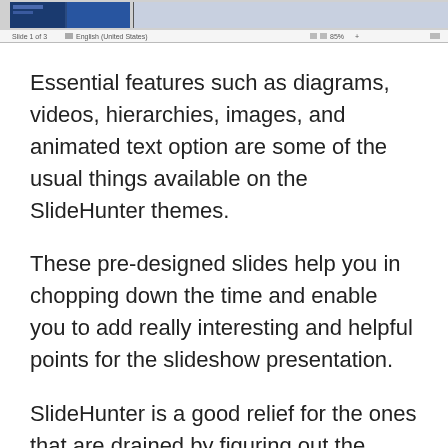[Figure (screenshot): Screenshot of a presentation software showing slide thumbnails and status bar with 'Slide 1 of 3', language indicator 'English (United States)', and zoom controls at 85%]
Essential features such as diagrams, videos, hierarchies, images, and animated text option are some of the usual things available on the SlideHunter themes.
These pre-designed slides help you in chopping down the time and enable you to add really interesting and helpful points for the slideshow presentation.
SlideHunter is a good relief for the ones that are drained by figuring out the layout along with the animations for the specific designs regarding the